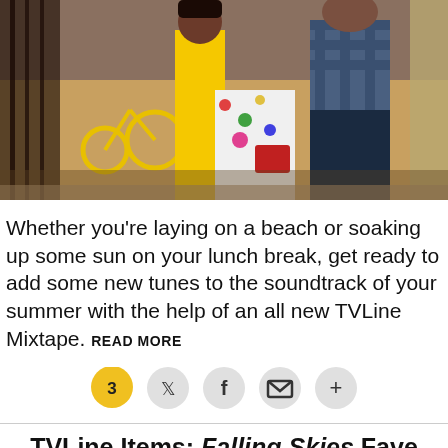[Figure (photo): Photo of people standing on a street, one person wearing a yellow dress and another in a plaid shirt, with a yellow bicycle visible in the background.]
Whether you're laying on a beach or soaking up some sun on your lunch break, get ready to add some new tunes to the soundtrack of your summer with the help of an all new TVLine Mixtape. READ MORE
[Figure (infographic): Social sharing bar with comment count bubble showing 3, plus Twitter, Facebook, email, and more icons.]
TVLine Items: Falling Skies Fave to Syfy, Hawaii Five-0's New Governor and More